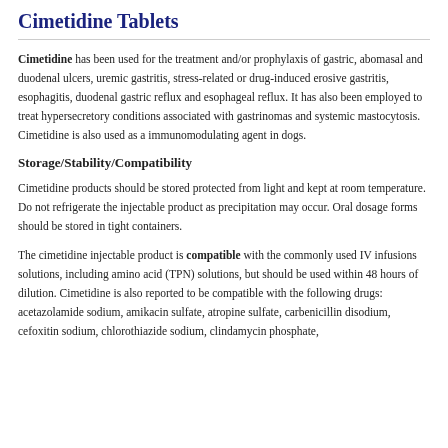Cimetidine Tablets
Cimetidine has been used for the treatment and/or prophylaxis of gastric, abomasal and duodenal ulcers, uremic gastritis, stress-related or drug-induced erosive gastritis, esophagitis, duodenal gastric reflux and esophageal reflux. It has also been employed to treat hypersecretory conditions associated with gastrinomas and systemic mastocytosis. Cimetidine is also used as a immunomodulating agent in dogs.
Storage/Stability/Compatibility
Cimetidine products should be stored protected from light and kept at room temperature. Do not refrigerate the injectable product as precipitation may occur. Oral dosage forms should be stored in tight containers.
The cimetidine injectable product is compatible with the commonly used IV infusions solutions, including amino acid (TPN) solutions, but should be used within 48 hours of dilution. Cimetidine is also reported to be compatible with the following drugs: acetazolamide sodium, amikacin sulfate, atropine sulfate, carbenicillin disodium, cefoxitin sodium, chlorothiazide sodium, clindamycin phosphate,